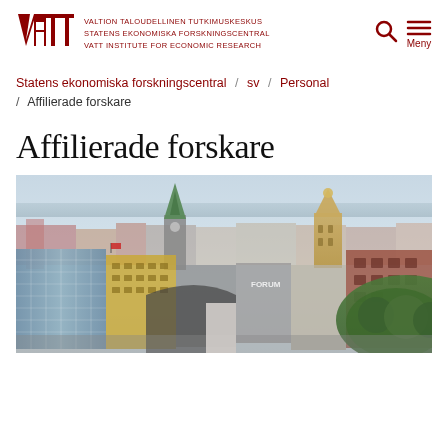VALTION TALOUDELLINEN TUTKIMUSKESKUS STATENS EKONOMISKA FORSKNINGSCENTRAL VATT INSTITUTE FOR ECONOMIC RESEARCH
Statens ekonomiska forskningscentral / sv / Personal / Affilierade forskare
Affilierade forskare
[Figure (photo): Aerial panoramic view of a Scandinavian city skyline showing multiple buildings including a green-spired church tower, a golden ornate tower, modern glass office buildings, and a forested hill in the background.]